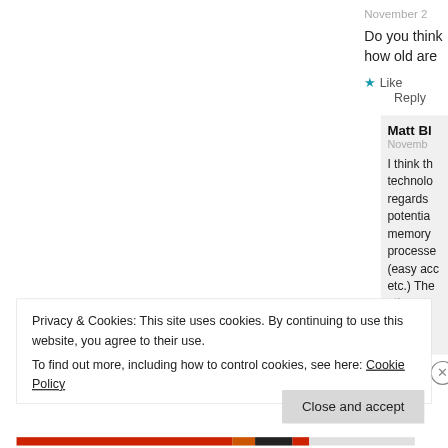November 2
Do you think how old are
★ Like
Reply
Matt Bl
Novemb
I think th technolo regards potentia memory processe (easy acc etc.) The ati ati re
Privacy & Cookies: This site uses cookies. By continuing to use this website, you agree to their use.
To find out more, including how to control cookies, see here: Cookie Policy
Close and accept